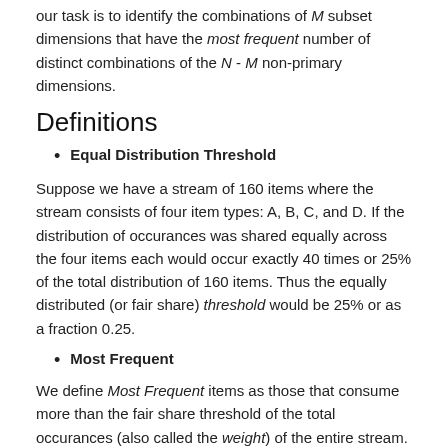our task is to identify the combinations of M subset dimensions that have the most frequent number of distinct combinations of the N - M non-primary dimensions.
Definitions
Equal Distribution Threshold
Suppose we have a stream of 160 items where the stream consists of four item types: A, B, C, and D. If the distribution of occurances was shared equally across the four items each would occur exactly 40 times or 25% of the total distribution of 160 items. Thus the equally distributed (or fair share) threshold would be 25% or as a fraction 0.25.
Most Frequent
We define Most Frequent items as those that consume more than the fair share threshold of the total occurances (also called the weight) of the entire stream.